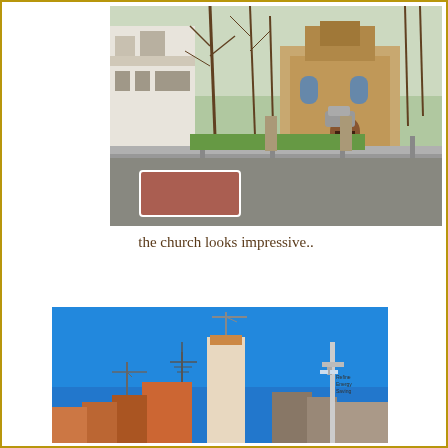[Figure (photo): Street-level photo of a stone church building with arched entrance, surrounded by bare trees, with an iron fence and road in the foreground. A car is visible on the driveway.]
the church looks impressive..
[Figure (photo): Photo of city skyline under a clear blue sky, with construction cranes, tall buildings under construction, and a tall light/antenna pole on the right side.]